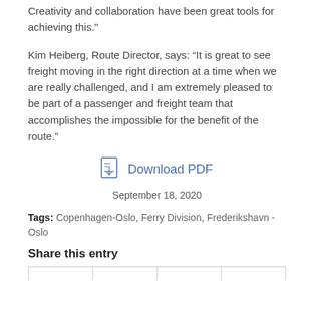Creativity and collaboration have been great tools for achieving this."
Kim Heiberg, Route Director, says: “It is great to see freight moving in the right direction at a time when we are really challenged, and I am extremely pleased to be part of a passenger and freight team that accomplishes the impossible for the benefit of the route.”
[Figure (other): Download PDF icon link]
September 18, 2020
Tags: Copenhagen-Oslo, Ferry Division, Frederikshavn - Oslo
Share this entry
|  |  |  |  |